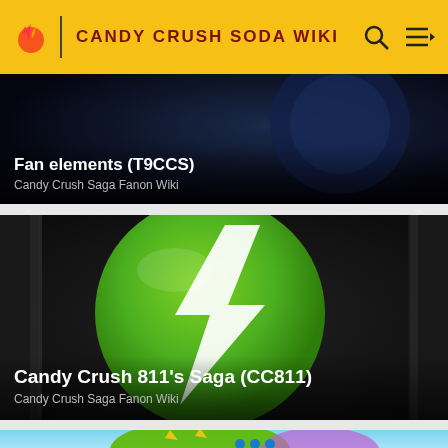CANDY CRUSH SODA WIKI
[Figure (screenshot): Fan elements (T9CCS) card with dark background showing partial game art]
Fan elements (T9CCS)
Candy Crush Saga Fanon Wiki
[Figure (screenshot): Candy Crush 811's Saga (CC811) card showing green circle with white lightning bolt on dark background]
Candy Crush 811's Saga (CC811)
Candy Crush Saga Fanon Wiki
[Figure (screenshot): Partial view of third card showing colorful game characters on blue background]